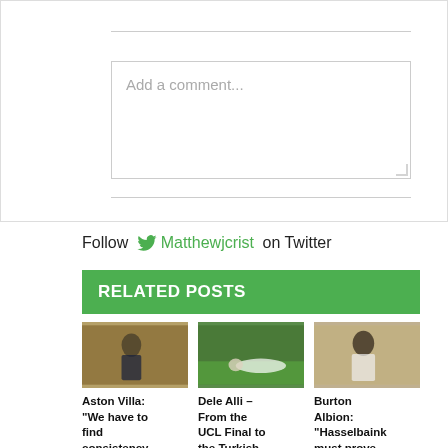Add a comment...
Follow Matthewjcrist on Twitter
RELATED POSTS
[Figure (photo): Photo of Aston Villa manager on sideline]
Aston Villa: "We have to find consistency
[Figure (photo): Photo of Dele Alli lying on ground injured]
Dele Alli – From the UCL Final to the Turkish
[Figure (photo): Photo of Burton Albion player]
Burton Albion: "Hasselbaink must prove